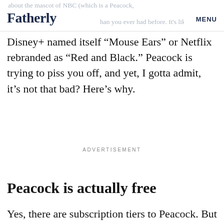Fatherly | MENU
Disney+ named itself “Mouse Ears” or Netflix rebranded as “Red and Black.” Peacock is trying to piss you off, and yet, I gotta admit, it’s not that bad? Here’s why.
ADVERTISEMENT
Peacock is actually free
Yes, there are subscription tiers to Peacock. But the